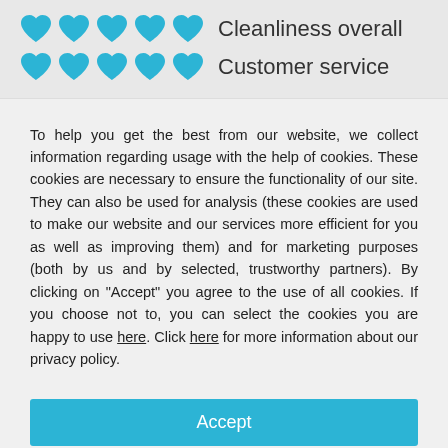[Figure (infographic): Five teal/blue heart icons in a row next to the text 'Cleanliness overall']
[Figure (infographic): Five teal/blue heart icons in a row next to the text 'Customer service']
To help you get the best from our website, we collect information regarding usage with the help of cookies. These cookies are necessary to ensure the functionality of our site. They can also be used for analysis (these cookies are used to make our website and our services more efficient for you as well as improving them) and for marketing purposes (both by us and by selected, trustworthy partners). By clicking on "Accept" you agree to the use of all cookies. If you choose not to, you can select the cookies you are happy to use here. Click here for more information about our privacy policy.
Accept
Decline
Configure